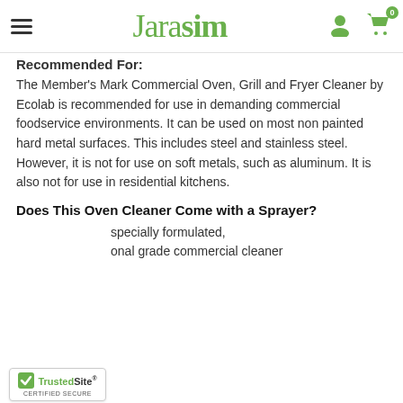Jarasim
Recommended For:
The Member's Mark Commercial Oven, Grill and Fryer Cleaner by Ecolab is recommended for use in demanding commercial foodservice environments. It can be used on most non painted hard metal surfaces. This includes steel and stainless steel. However, it is not for use on soft metals, such as aluminum. It is also not for use in residential kitchens.
Does This Oven Cleaner Come with a Sprayer?
specially formulated, onal grade commercial cleaner